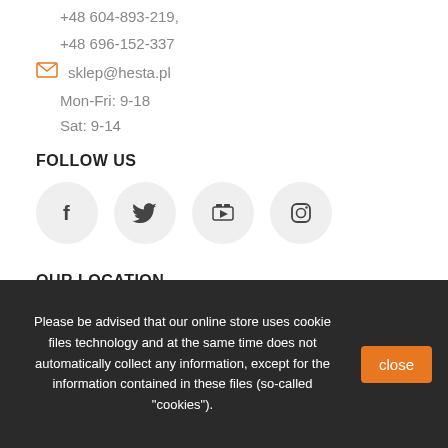+48 604-893-219,
+48 696-152-337
sklep@hesta.pl
Mon-Fri: 9-18
Sat: 9-14
FOLLOW US
[Figure (infographic): Four social media icon circles: Facebook, Twitter, YouTube, Instagram]
OUR LOCATION
Please be advised that our online store uses cookie files technology and at the same time does not automatically collect any information, except for the information contained in these files (so-called "cookies").